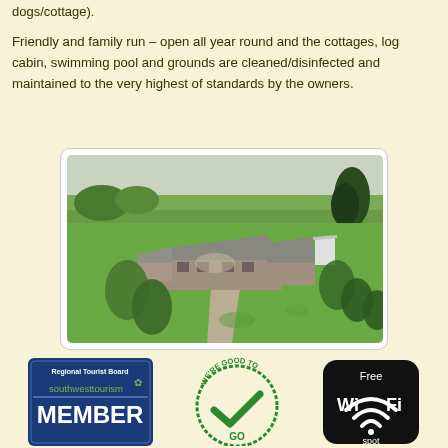dogs/cottage).
Friendly and family run – open all year round and the cottages, log cabin, swimming pool and grounds are cleaned/disinfected and maintained to the very highest of standards by the owners.
[Figure (photo): Aerial drone photograph of a rural farm/cottage complex with stone buildings, green lawns, trees, a driveway path, and surrounding agricultural fields under an overcast sky.]
[Figure (logo): Regional Tourist Board southwesttourism MEMBER logo with blue background and white text]
[Figure (logo): We're Good To Go certification badge – green circular stamp with checkmark]
[Figure (logo): Free Wi-Fi spot badge – black rounded shape with white text]